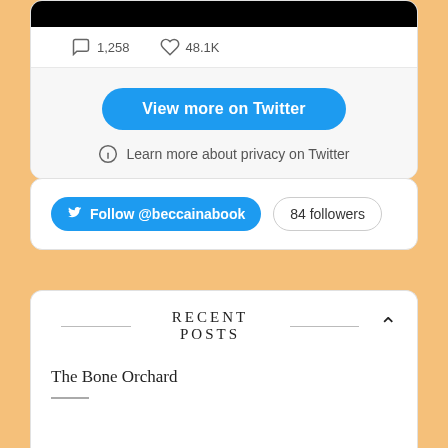[Figure (screenshot): Partial Twitter embed card showing a black image bar, engagement counts (1,258 comments, 48.1K likes), and a 'View more on Twitter' button with a privacy notice.]
1,258   48.1K
View more on Twitter
Learn more about privacy on Twitter
[Figure (screenshot): Twitter follow widget card with 'Follow @beccainabook' button and '84 followers' badge.]
Follow @beccainabook
84 followers
RECENT POSTS
The Bone Orchard